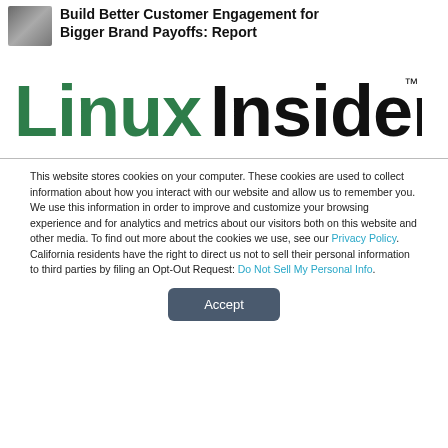Build Better Customer Engagement for Bigger Brand Payoffs: Report
[Figure (logo): LinuxInsider logo — 'Linux' in green bold sans-serif, 'INSIDER' in black bold sans-serif, with TM mark]
This website stores cookies on your computer. These cookies are used to collect information about how you interact with our website and allow us to remember you. We use this information in order to improve and customize your browsing experience and for analytics and metrics about our visitors both on this website and other media. To find out more about the cookies we use, see our Privacy Policy. California residents have the right to direct us not to sell their personal information to third parties by filing an Opt-Out Request: Do Not Sell My Personal Info.